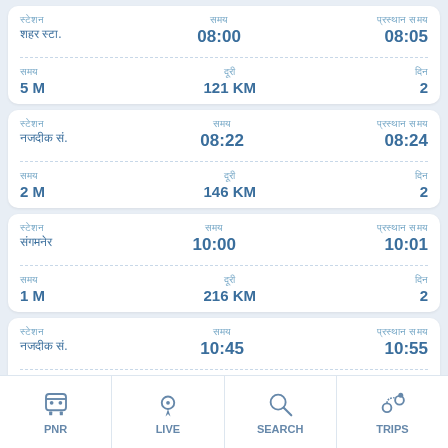| स्टेशन | समय | प्रस्थान समय |
| --- | --- | --- |
| शहर स्टा. | 08:00 | 08:05 |
| 5 M | 121 KM | 2 |
| स्टेशन | समय | प्रस्थान समय |
| --- | --- | --- |
| नजदीक सं. | 08:22 | 08:24 |
| 2 M | 146 KM | 2 |
| स्टेशन | समय | प्रस्थान समय |
| --- | --- | --- |
| संगमनेर | 10:00 | 10:01 |
| 1 M | 216 KM | 2 |
| स्टेशन | समय | प्रस्थान समय |
| --- | --- | --- |
| नजदीक सं. | 10:45 | 10:55 |
| 10 M | 236 KM | 2 |
PNR
LIVE
SEARCH
TRIPS